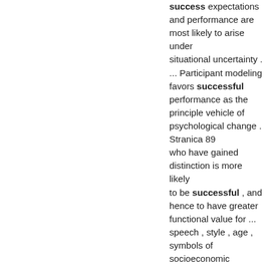success expectations and performance are most likely to arise under situational uncertainty . ... Participant modeling favors successful performance as the principle vehicle of psychological change . Stranica 89 who have gained distinction is more likely to be successful , and hence to have greater functional value for ... speech , style , age , symbols of socioeconomic success , and signs of expertise as indicators of past successes . Stranica 132 People tend to raise their performance standards